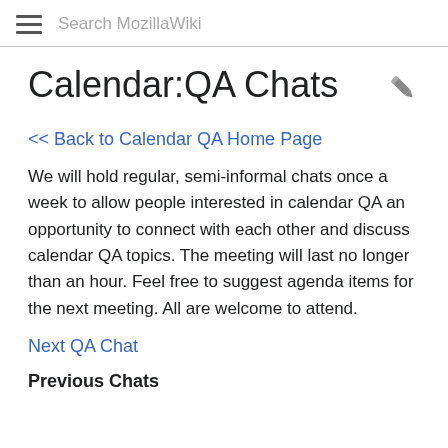Search MozillaWiki
Calendar:QA Chats
<< Back to Calendar QA Home Page
We will hold regular, semi-informal chats once a week to allow people interested in calendar QA an opportunity to connect with each other and discuss calendar QA topics. The meeting will last no longer than an hour. Feel free to suggest agenda items for the next meeting. All are welcome to attend.
Next QA Chat
Previous Chats